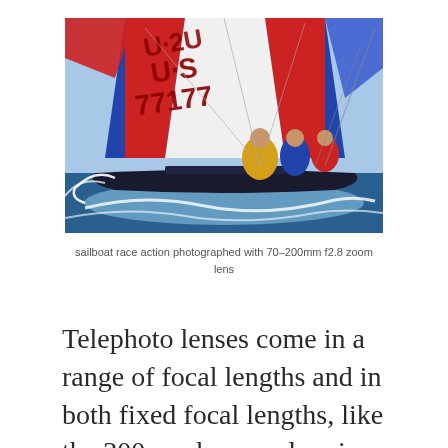[Figure (photo): Aerial/close-up photo of a sailboat race showing colorful red, white and blue spinnaker sails with 'U.S. 77177' markings, crew members visible, water spray below the hull.]
sailboat race action photographed with 70–200mm f2.8 zoom lens
Telephoto lenses come in a range of focal lengths and in both fixed focal lengths, like the 300mm lens, and various zoom configurations. My go-to